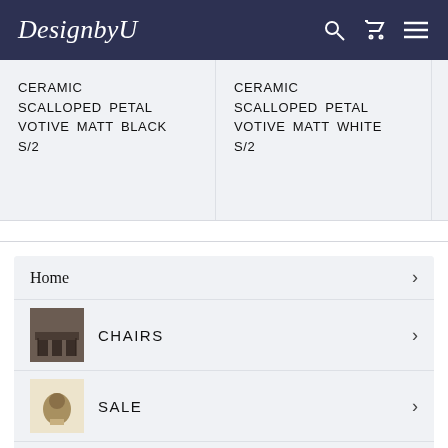DesignbyU
CERAMIC SCALLOPED PETAL VOTIVE MATT BLACK S/2
CERAMIC SCALLOPED PETAL VOTIVE MATT WHITE S/2
CERA VASE
Home
CHAIRS
SALE
PATIO FURNITURE& OUTDOOR ACCESSORIES